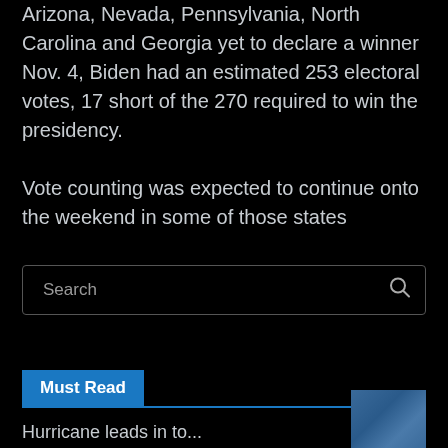Arizona, Nevada, Pennsylvania, North Carolina and Georgia yet to declare a winner Nov. 4, Biden had an estimated 253 electoral votes, 17 short of the 270 required to win the presidency.
Vote counting was expected to continue onto the weekend in some of those states
[Figure (screenshot): Search input box with placeholder text 'Search' and a search icon on the right]
Must Read
[Figure (photo): Small thumbnail image in blue tones at the bottom right corner]
Hurricane leads in to...